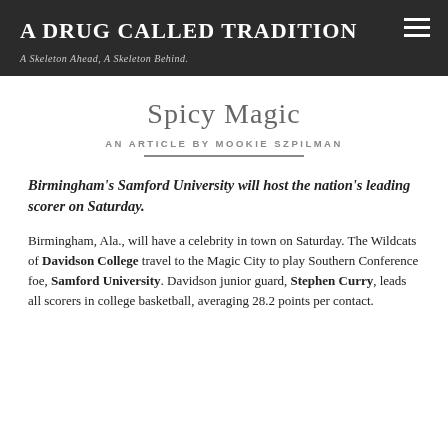A DRUG CALLED TRADITION | A Skeleton Ahead, A Skeleton Behind.
Spicy Magic
AN ARTICLE BY MOOKIE SZPILMAN
Birmingham's Samford University will host the nation's leading scorer on Saturday.
Birmingham, Ala., will have a celebrity in town on Saturday. The Wildcats of Davidson College travel to the Magic City to play Southern Conference foe, Samford University. Davidson junior guard, Stephen Curry, leads all scorers in college basketball, averaging 28.2 points per contest.